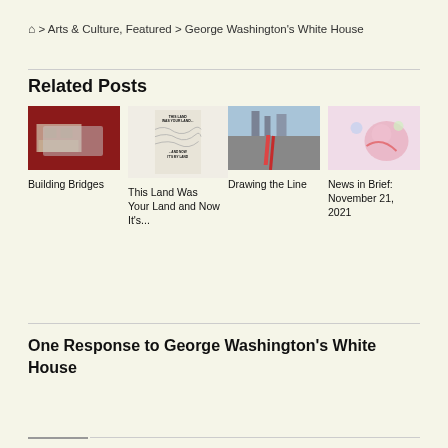🏠 > Arts & Culture, Featured > George Washington's White House
Related Posts
[Figure (photo): Thumbnail photo of an art installation with white figures on red background, related to 'Building Bridges']
Building Bridges
[Figure (illustration): Book cover or poster: 'THIS LAND WAS YOUR LAND... ...AND NOW IT'S MY LAND' with topographic line art]
This Land Was Your Land and Now It's...
[Figure (photo): Street photo with red line painted on pavement, city skyline in background, related to 'Drawing the Line']
Drawing the Line
[Figure (illustration): Colorful illustration with abstract figures, related to 'News in Brief: November 21, 2021']
News in Brief: November 21, 2021
One Response to George Washington's White House